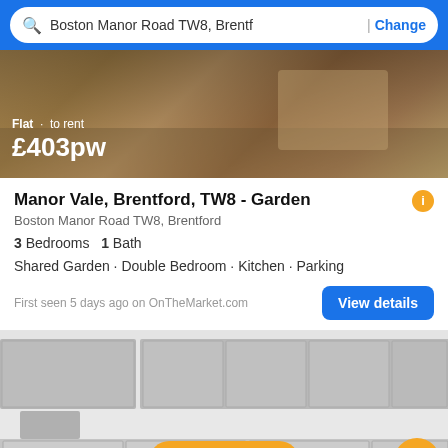Boston Manor Road TW8, Brentf | Change
[Figure (photo): Interior photo of a living room with sofa and cushions, overlaid with property listing text: 'Flat · to rent £403pw']
Manor Vale, Brentford, TW8 - Garden
Boston Manor Road TW8, Brentford
3 Bedrooms  1 Bath
Shared Garden · Double Bedroom · Kitchen · Parking
First seen 5 days ago on OnTheMarket.com
[Figure (photo): Interior photo of a modern kitchen with grey cabinets, with a Filter button overlay and '16 pictures' badge]